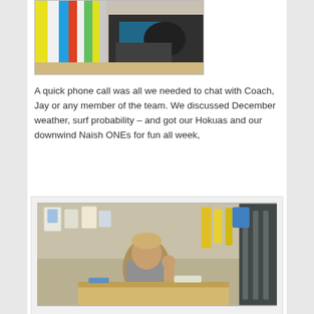[Figure (photo): Top photo showing surf equipment - boards with colorful stripes visible on rack, and dark bags/equipment in a surf shop setting]
A quick phone call was all we needed to chat with Coach, Jay or any member of the team. We discussed December weather, surf probability – and got our Hokuas and our downwind Naish ONEs for fun all week,
[Figure (photo): Photo of a man (Jay or Coach) standing behind a counter in the Naish Maui ProCenter surf shop, smiling, with shop merchandise and equipment visible in the background]
— Jay, Coach and the entire Naish Maui ProCenter team is YOUR local connection on Maui